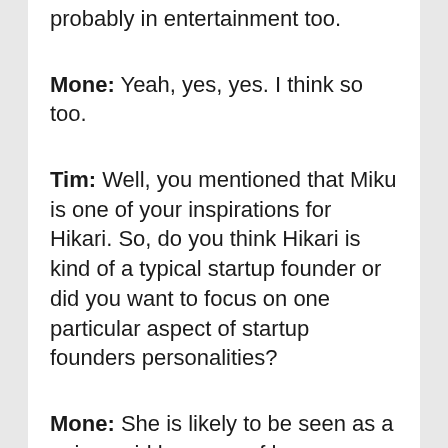probably in entertainment too.
Mone: Yeah, yes, yes. I think so too.
Tim: Well, you mentioned that Miku is one of your inspirations for Hikari. So, do you think Hikari is kind of a typical startup founder or did you want to focus on one particular aspect of startup founders personalities?
Mone: She is likely to be seen as a unique girl because of her characteristic but basically, I think she is very typical. She has what she wants to do and she does what she thinks is right and she does